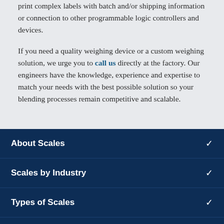print complex labels with batch and/or shipping information or connection to other programmable logic controllers and devices.
If you need a quality weighing device or a custom weighing solution, we urge you to call us directly at the factory. Our engineers have the knowledge, experience and expertise to match your needs with the best possible solution so your blending processes remain competitive and scalable.
About Scales
Scales by Industry
Types of Scales